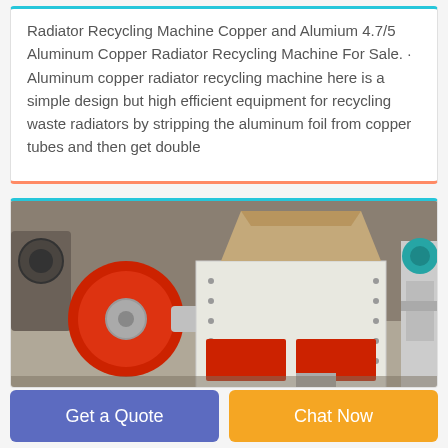Radiator Recycling Machine Copper and Alumium 4.7/5 Aluminum Copper Radiator Recycling Machine For Sale. · Aluminum copper radiator recycling machine here is a simple design but high efficient equipment for recycling waste radiators by stripping the aluminum foil from copper tubes and then get double
[Figure (photo): Industrial radiator recycling machine with red and white/grey body, large red cylindrical rollers on left, white rectangular hopper on top, red panels on the lower body. Additional machinery visible in the background in a factory/workshop setting.]